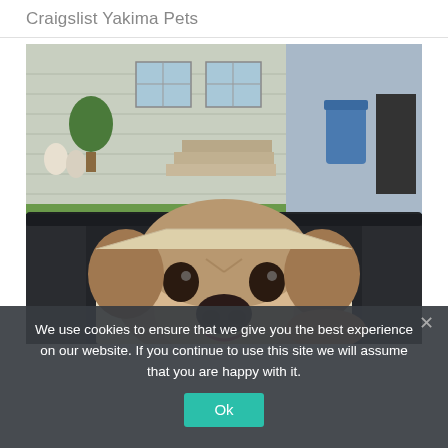Craigslist Yakima Pets
[Figure (photo): A puppy (appears to be a small breed, grayish-tan colored) looking up from a cardboard box in the back seat of a car. Through the car window, a house with stairs, garden statues, and a blue trash bin are visible in the background.]
We use cookies to ensure that we give you the best experience on our website. If you continue to use this site we will assume that you are happy with it.